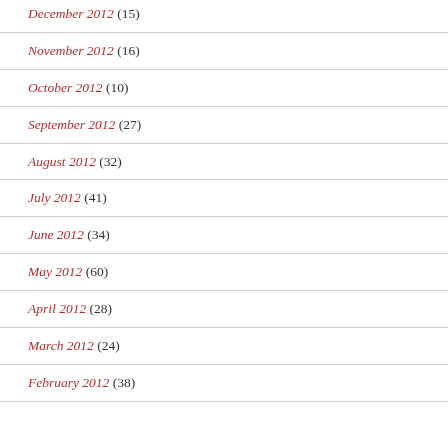December 2012 (15)
November 2012 (16)
October 2012 (10)
September 2012 (27)
August 2012 (32)
July 2012 (41)
June 2012 (34)
May 2012 (60)
April 2012 (28)
March 2012 (24)
February 2012 (38)